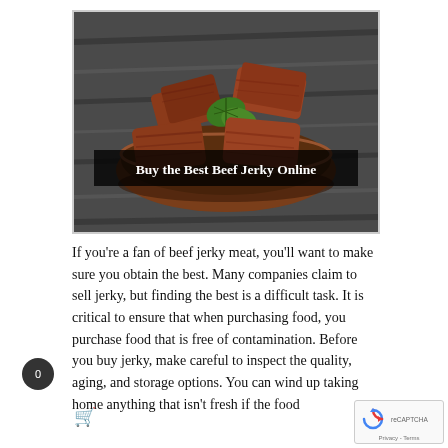[Figure (photo): Beef jerky pieces in a wooden bowl with green herb garnish on a dark wooden surface. Overlaid white bold text reads 'Buy the Best Beef Jerky Online' on a semi-transparent dark background bar.]
If you're a fan of beef jerky meat, you'll want to make sure you obtain the best. Many companies claim to sell jerky, but finding the best is a difficult task. It is critical to ensure that when purchasing food, you purchase food that is free of contamination. Before you buy jerky, make careful to inspect the quality, aging, and storage options. You can wind up taking home anything that isn't fresh if the food